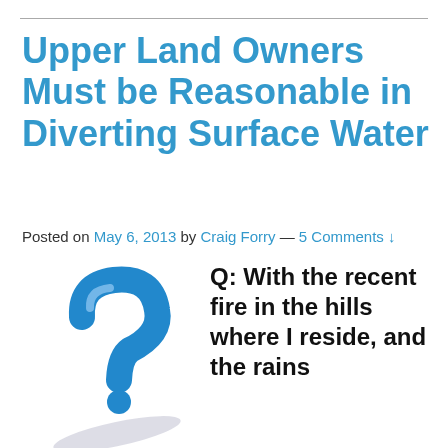Upper Land Owners Must be Reasonable in Diverting Surface Water
Posted on May 6, 2013 by Craig Forry — 5 Comments ↓
[Figure (illustration): A large blue 3D question mark with shadow on white background]
Q: With the recent fire in the hills where I reside, and the rains that have caused severe mud slides that appear to be heading my way, how can I protect my